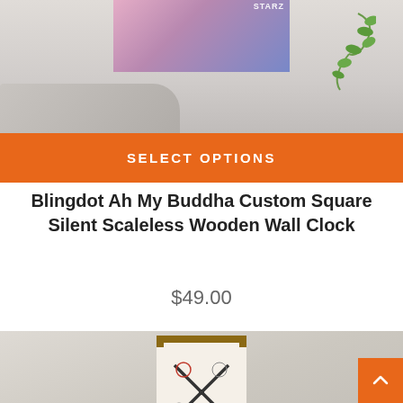[Figure (photo): Product photo of an anime-themed square wooden wall clock displayed on a wall above a shelf with a trailing plant decoration.]
SELECT OPTIONS
Blingdot Ah My Buddha Custom Square Silent Scaleless Wooden Wall Clock
$49.00
[Figure (photo): Close-up product photo of a wooden framed square wall clock with tattoo flash art design on the face, showing clock hands.]